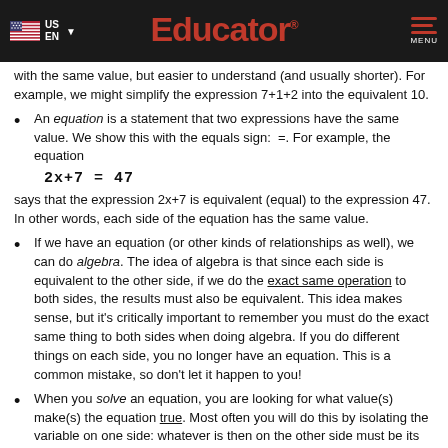Educator
with the same value, but easier to understand (and usually shorter). For example, we might simplify the expression 7+1+2 into the equivalent 10.
An equation is a statement that two expressions have the same value. We show this with the equals sign: =. For example, the equation
says that the expression 2x+7 is equivalent (equal) to the expression 47. In other words, each side of the equation has the same value.
If we have an equation (or other kinds of relationships as well), we can do algebra. The idea of algebra is that since each side is equivalent to the other side, if we do the exact same operation to both sides, the results must also be equivalent. This idea makes sense, but it's critically important to remember you must do the exact same thing to both sides when doing algebra. If you do different things on each side, you no longer have an equation. This is a common mistake, so don't let it happen to you!
When you solve an equation, you are looking for what value(s) make(s) the equation true. Most often you will do this by isolating the variable on one side: whatever is then on the other side must be its value. You isolate the variable by doing algebra. Ask yourself, "What operation would help get this alone?", then apply that operation to both sides.
It's critical to remember the order of operations when simplifying expressions and doing algebra. Certain operations take precedence over others. However, it goes